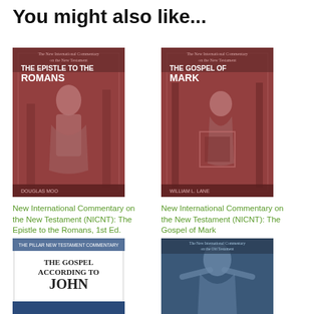You might also like...
[Figure (illustration): Book cover: The Epistle to the Romans by Douglas Moo (New International Commentary on the New Testament) — dark red/maroon illustrated cover]
New International Commentary on the New Testament (NICNT): The Epistle to the Romans, 1st Ed.
$59.99
[Figure (illustration): Book cover: The Gospel of Mark by William L. Lane (New International Commentary on the New Testament) — dark red/maroon illustrated cover]
New International Commentary on the New Testament (NICNT): The Gospel of Mark
$49.99
[Figure (illustration): Book cover: The Gospel According to John — white cover with bold title text]
[Figure (illustration): Book cover: New International Commentary on the Old Testament — blue toned illustrated cover]